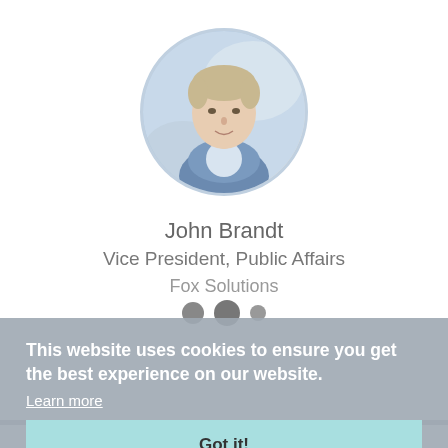[Figure (photo): Circular profile photo of a man in a blue jacket with blurred indoor background]
John Brandt
Vice President, Public Affairs
Fox Solutions
This website uses cookies to ensure you get the best experience on our website.
Learn more
Got it!